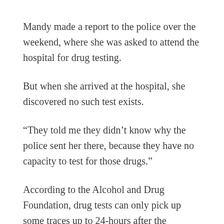Mandy made a report to the police over the weekend, where she was asked to attend the hospital for drug testing.
But when she arrived at the hospital, she discovered no such test exists.
“They told me they didn’t know why the police sent her there, because they have no capacity to test for those drugs.”
According to the Alcohol and Drug Foundation, drug tests can only pick up some traces up to 24-hours after the consumption occurs.
Mandy received treatment for bruising around her